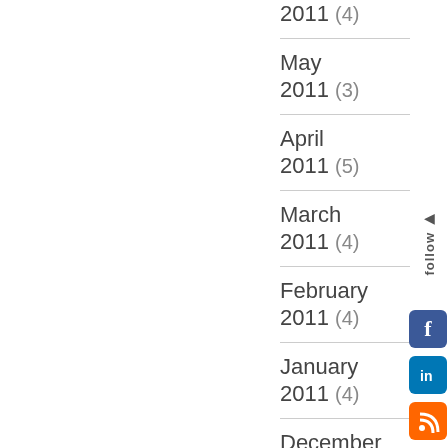2011 (4)
May 2011 (3)
April 2011 (5)
March 2011 (4)
February 2011 (4)
January 2011 (4)
December 2010 (5)